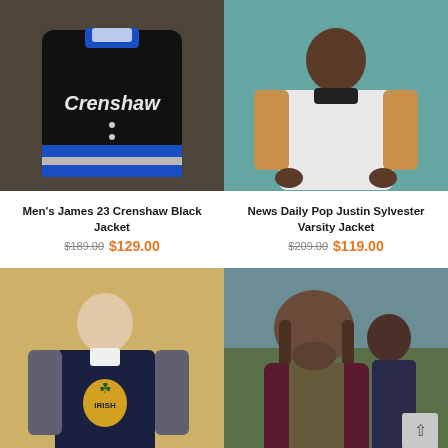[Figure (photo): Men's James 23 Crenshaw black varsity jacket with blue and white stripes, displayed on a wooden surface]
[Figure (photo): News Daily Pop Justin Sylvester wearing a white and tan varsity jacket, gesturing with hands]
Men's James 23 Crenshaw Black Jacket
$189.00 $129.00
News Daily Pop Justin Sylvester Varsity Jacket
$209.00 $119.00
[Figure (photo): Young man wearing a dark navy varsity jacket with 'IRISH' shamrock patch and grey leather sleeves]
[Figure (photo): Heavyset man with long hair and beard wearing a dark maroon jacket, outdoors]